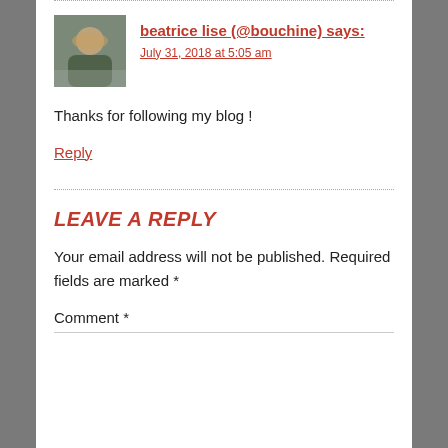beatrice lise (@bouchine) says: July 31, 2018 at 5:05 am
Thanks for following my blog !
Reply
LEAVE A REPLY
Your email address will not be published. Required fields are marked *
Comment *